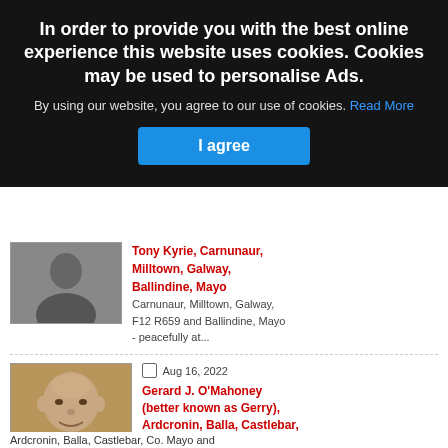[Figure (screenshot): Cookie consent overlay banner on a website, dark semi-transparent background with white bold text about cookies, a blue 'I agree' button, overlaid on a page listing obituary/death notices.]
In order to provide you with the best online experience this website uses cookies. Cookies may be used to personalise Ads.
By using our website, you agree to our use of cookies. Read More
I agree
Carnunaur, Milltown, Galway, F12 R659 and Ballindine, Mayo - peacefully at...
Tony Kyrie, Carnunaur, Milltown, Galway
Ballindine, Mayo
Aug 16, 2022
Gerard J. O'Mahoney (better known as Gerry), Ardcronin, Balla, Castlebar, Co. Mayo and formerly of Athea, Co. Limerick and Wembley, London, U.K.
Gerard J. O'Mahoney (better known as Gerry),
Ardcronin, Balla, Castlebar, Co. Mayo and